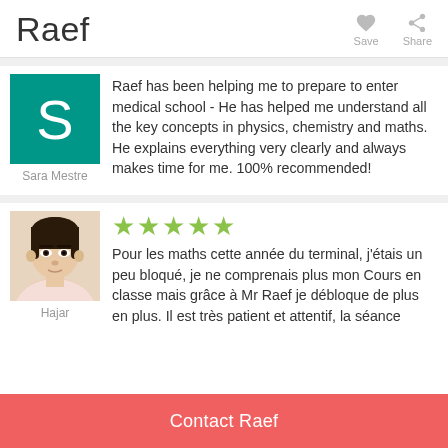Raef
Save
Share
[Figure (photo): Green square avatar with white letter S, for Sara Mestre]
Sara Mestre
Raef has been helping me to prepare to enter medical school - He has helped me understand all the key concepts in physics, chemistry and maths. He explains everything very clearly and always makes time for me. 100% recommended!
[Figure (photo): Photo of Hajar, a young woman with dark hair pulled back, wearing a light pink top]
Hajar
★★★★★
Pour les maths cette année du terminal, j'étais un peu bloqué, je ne comprenais plus mon Cours en classe mais grâce à Mr Raef je débloque de plus en plus. Il est très patient et attentif, la séance
Contact Raef